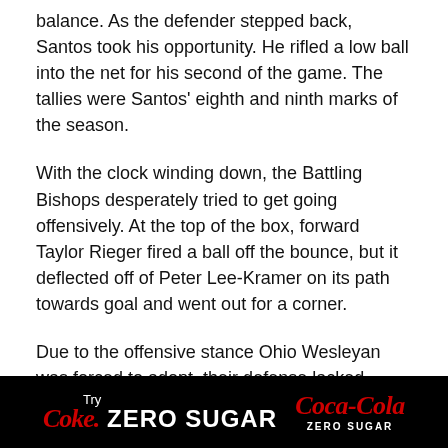balance. As the defender stepped back, Santos took his opportunity. He rifled a low ball into the net for his second of the game. The tallies were Santos' eighth and ninth marks of the season.
With the clock winding down, the Battling Bishops desperately tried to get going offensively. At the top of the box, forward Taylor Rieger fired a ball off the bounce, but it deflected off of Peter Lee-Kramer on its path towards goal and went out for a corner.
Due to the offensive stance Ohio Wesleyan was forced to adopt, their defense lacked numbers. Freshman midfielder Stephen McMillian turned with the ball on the left wing and sent a pass ahead to Nate Majumder. Majumder held the ball up, turned, and got off a right-footed shot that Beemiller had to
[Figure (other): Coca-Cola Zero Sugar advertisement banner. Black background with 'Try Coke. ZERO SUGAR' text in white and red on the left, and the Coca-Cola Zero Sugar logo on the right.]